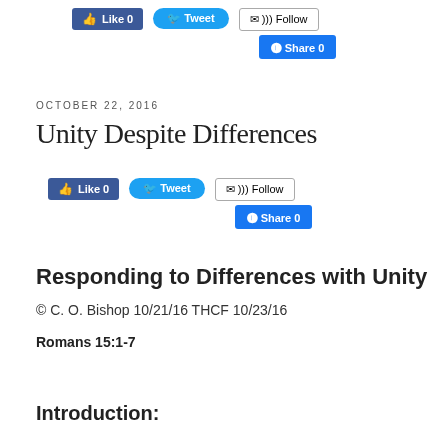[Figure (screenshot): Social media buttons row: Like 0 (Facebook), Tweet (Twitter), Follow (email/RSS), Share 0 (Facebook) — top of page]
OCTOBER 22, 2016
Unity Despite Differences
[Figure (screenshot): Social media buttons row: Like 0 (Facebook), Tweet (Twitter), Follow (email/RSS), Share 0 (Facebook) — middle of page]
Responding to Differences with Unity
© C. O. Bishop 10/21/16 THCF 10/23/16
Romans 15:1-7
Introduction: